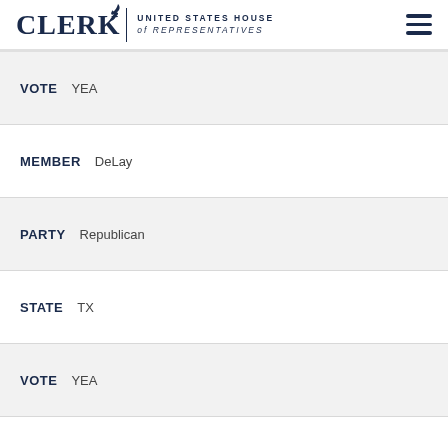CLERK UNITED STATES HOUSE of REPRESENTATIVES
VOTE  YEA
MEMBER  DeLay
PARTY  Republican
STATE  TX
VOTE  YEA
MEMBER  Dellums
PARTY  Democratic
STATE  CA